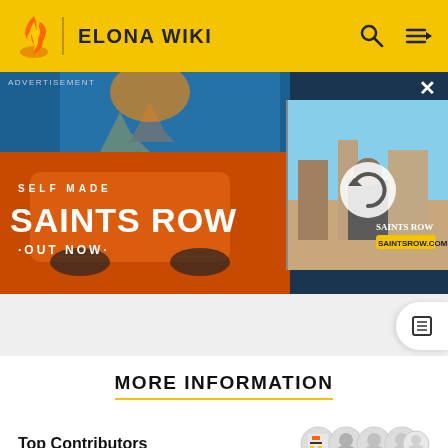ELONA WIKI
[Figure (screenshot): Saints Row video game advertisement banner with action scene and game logo 'SAINTS ROW SELF MADE - OUT NOW'. Includes a close button (X) and an ADVERTISEMENT label. Right side shows a smaller image with a refresh icon.]
MORE INFORMATION
Top Contributors
Comments (0)
Categories